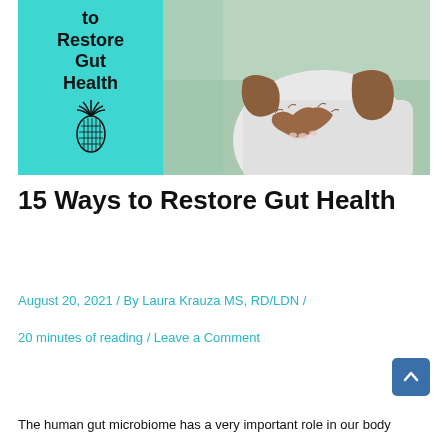[Figure (photo): Hero image with teal background on left side showing text 'to Restore Gut Health' with a pineapple icon, and on the right a photo of a person forming a heart shape with their hands over their abdomen]
15 Ways to Restore Gut Health
August 20, 2021 / By Laura Krauza MS, RD/LDN /
20 minutes of reading / Leave a Comment
The human gut microbiome has a very important role in our body